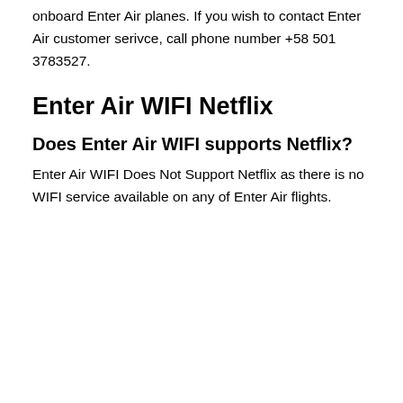onboard Enter Air planes. If you wish to contact Enter Air customer serivce, call phone number +58 501 3783527.
Enter Air WIFI Netflix
Does Enter Air WIFI supports Netflix?
Enter Air WIFI Does Not Support Netflix as there is no WIFI service available on any of Enter Air flights.